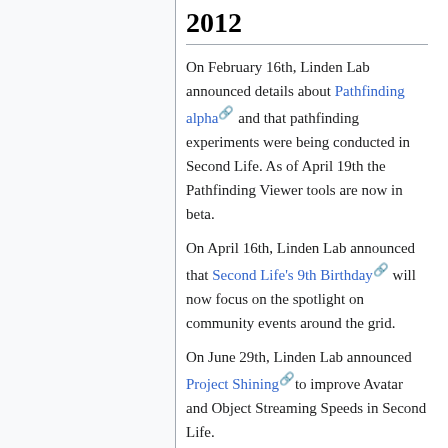2012
On February 16th, Linden Lab announced details about Pathfinding alpha and that pathfinding experiments were being conducted in Second Life. As of April 19th the Pathfinding Viewer tools are now in beta.
On April 16th, Linden Lab announced that Second Life's 9th Birthday will now focus on the spotlight on community events around the grid.
On June 29th, Linden Lab announced Project Shining to improve Avatar and Object Streaming Speeds in Second Life.
2013
On February 20th, Linden Lab added